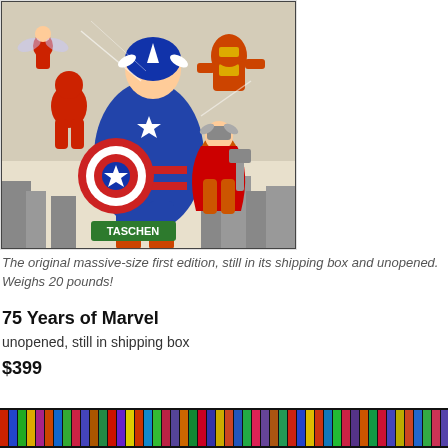[Figure (photo): TASCHEN 75 Years of Marvel comic book cover showing Captain America, Iron Man, Thor, Ant-Man and other Marvel superheroes in classic comic art style. Green TASCHEN label visible at bottom of cover.]
The original massive-size first edition, still in its shipping box and unopened. Weighs 20 pounds!
75 Years of Marvel
unopened, still in shipping box
$399
[Figure (photo): Bottom strip showing a row of colorful comic book spines arranged side by side on a dark background.]